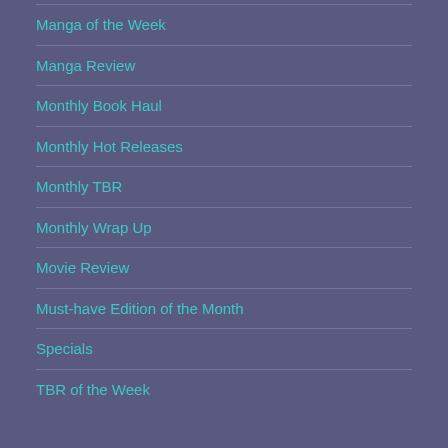Manga of the Week
Manga Review
Monthly Book Haul
Monthly Hot Releases
Monthly TBR
Monthly Wrap Up
Movie Review
Must-have Edition of the Month
Specials
TBR of the Week